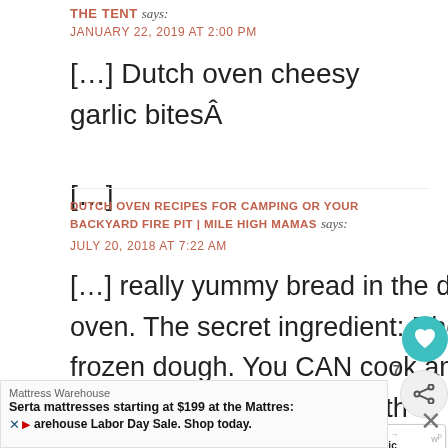THE TENT says:
JANUARY 22, 2019 AT 2:00 PM
[…] Dutch oven cheesy garlic bitesÂ

[…]
DUTCH OVEN RECIPES FOR CAMPING OR YOUR BACKYARD FIRE PIT | MILE HIGH MAMAS says:
JULY 20, 2018 AT 7:22 AM
[…] really yummy bread in the dutch oven. The secret ingredient: Rhodes frozen dough. You CAN cook amazing bread in the dutch oven with the […]
WHAT'S NEXT → Cheesy Garlic Bread Bites
Mattress Warehouse
Serta mattresses starting at $199 at the Mattres:
Warehouse Labor Day Sale. Shop today.